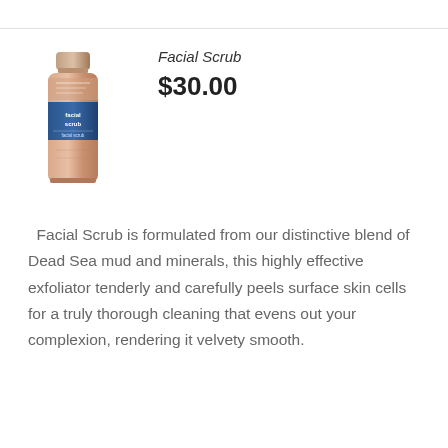[Figure (illustration): A facial scrub tube product standing upright, beige/salmon colored tube with a blue label area in the middle reading 'Facial Scrub']
Facial Scrub
$30.00
Facial Scrub is formulated from our distinctive blend of Dead Sea mud and minerals, this highly effective exfoliator tenderly and carefully peels surface skin cells for a truly thorough cleaning that evens out your complexion, rendering it velvety smooth.